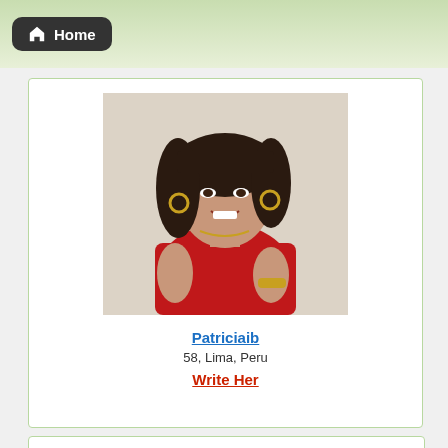Home
[Figure (photo): Profile photo of a woman with dark hair wearing a red dress, smiling, with a white brick wall background]
Patriciaib
58, Lima, Peru
Write Her